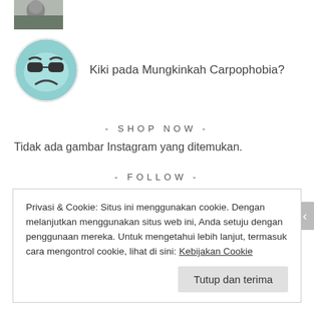[Figure (photo): Small thumbnail image of a person at top]
[Figure (photo): Round avatar with blue sad-face emoji with sunglasses]
Kiki pada Mungkinkah Carpophobia?
- SHOP NOW -
Tidak ada gambar Instagram yang ditemukan.
- FOLLOW -
[Figure (illustration): Twitter bird icon and Instagram camera icon]
Privasi & Cookie: Situs ini menggunakan cookie. Dengan melanjutkan menggunakan situs web ini, Anda setuju dengan penggunaan mereka. Untuk mengetahui lebih lanjut, termasuk cara mengontrol cookie, lihat di sini: Kebijakan Cookie
Tutup dan terima